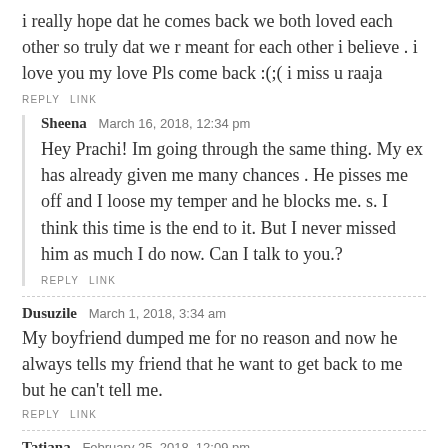i really hope dat he comes back we both loved each other so truly dat we r meant for each other i believe . i love you my love Pls come back :(;( i miss u raaja
REPLY   LINK
Sheena   March 16, 2018, 12:34 pm
Hey Prachi! Im going through the same thing. My ex has already given me many chances . He pisses me off and I loose my temper and he blocks me. s. I think this time is the end to it. But I never missed him as much I do now. Can I talk to you.?
REPLY   LINK
Dusuzile   March 1, 2018, 3:34 am
My boyfriend dumped me for no reason and now he always tells my friend that he want to get back to me but he can't tell me.
REPLY   LINK
Tatiana   February 25, 2018, 12:09 pm
I think my ex still loves me but I'm not sure. It's been